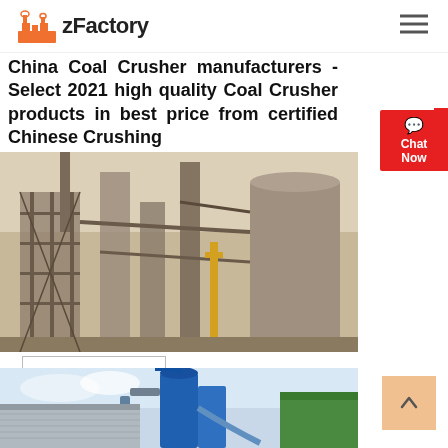zFactory
China Coal Crusher manufacturers - Select 2021 high quality Coal Crusher products in best price from certified Chinese Crushing
[Figure (photo): Industrial coal crushing plant with tall metal structures, scaffolding, and a large cylindrical silo in a dusty outdoor setting.]
[Figure (photo): Industrial milling or grinding facility with blue cyclone separator, pipes and ductwork, and corrugated metal buildings in an outdoor setting.]